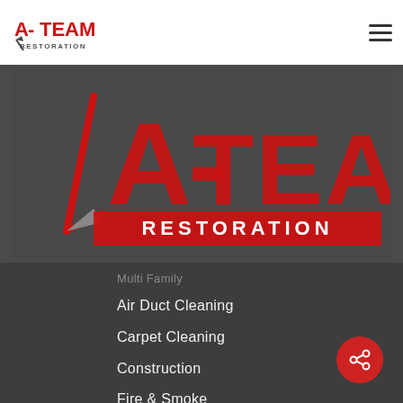[Figure (logo): A-Team Restoration small logo in nav bar, red and black text with restoration tool graphic]
[Figure (logo): A-Team Restoration large hero logo on dark background, red distressed lettering with vacuum/cleaning tool graphic and 'RESTORATION' text below]
Multi Family
Air Duct Cleaning
Carpet Cleaning
Construction
Fire & Smoke
Mold Remediation
Hazmat Services